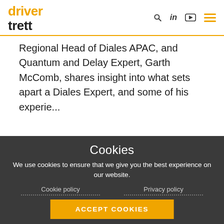driver trett
Regional Head of Diales APAC, and Quantum and Delay Expert, Garth McComb, shares insight into what sets apart a Diales Expert, and some of his experie...
[Figure (photo): Partial photo of a construction site interior showing wooden scaffolding/formwork structure with blue piping visible, warm orange lighting.]
Cookies
We use cookies to ensure that we give you the best experience on our website.
Cookie policy    Privacy policy
ACCEPT COOKIES